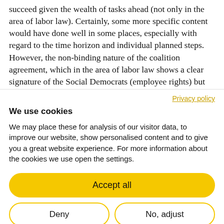succeed given the wealth of tasks ahead (not only in the area of labor law). Certainly, some more specific content would have done well in some places, especially with regard to the time horizon and individual planned steps. However, the non-binding nature of the coalition agreement, which in the area of labor law shows a clear signature of the Social Democrats (employee rights) but also of the Liberals (for ex-
Privacy policy
We use cookies
We may place these for analysis of our visitor data, to improve our website, show personalised content and to give you a great website experience. For more information about the cookies we use open the settings.
Accept all
Deny
No, adjust